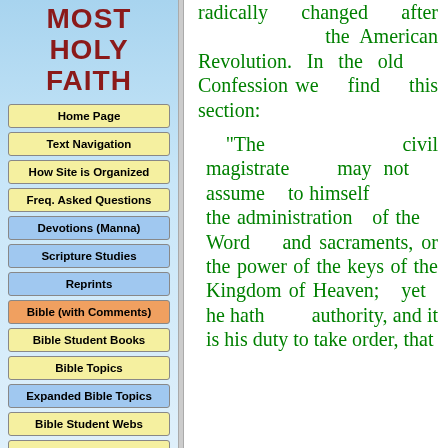MOST HOLY FAITH
Home Page
Text Navigation
How Site is Organized
Freq. Asked Questions
Devotions (Manna)
Scripture Studies
Reprints
Bible (with Comments)
Bible Student Books
Bible Topics
Expanded Bible Topics
Bible Student Webs
Miscellaneous
radically changed after the American Revolution. In the old Confession we find this section:
"The civil magistrate may not assume to himself the administration of the Word and sacraments, or the power of the keys of the Kingdom of Heaven; yet he hath authority, and it is his duty to take order, that